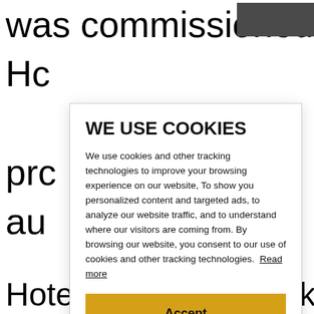was commissioned. Renuka Ci... Ho... prc... au... Ra... ba... Sh... Th... Joi... tw...
[Figure (screenshot): Cookie consent modal overlay on a webpage. Title: 'WE USE COOKIES'. Body text explains use of cookies and tracking technologies. Contains a 'Read more' link and an 'Accept' button styled in golden/amber color.]
Hotels Plc and Renuka City Hotels